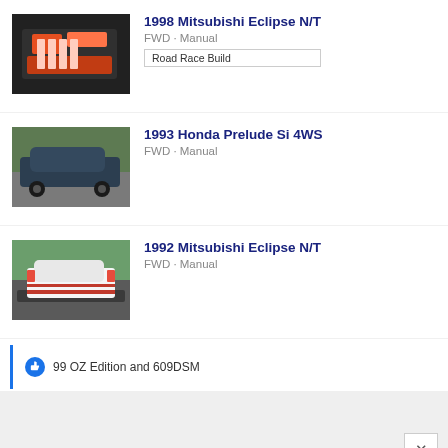[Figure (photo): 1998 Mitsubishi Eclipse engine bay photo showing orange engine components]
1998 Mitsubishi Eclipse N/T
FWD · Manual
Road Race Build
[Figure (photo): 1993 Honda Prelude Si 4WS dark colored car parked outdoors]
1993 Honda Prelude Si 4WS
FWD · Manual
[Figure (photo): 1992 Mitsubishi Eclipse N/T white car on trailer viewed from rear]
1992 Mitsubishi Eclipse N/T
FWD · Manual
99 OZ Edition and 609DSM